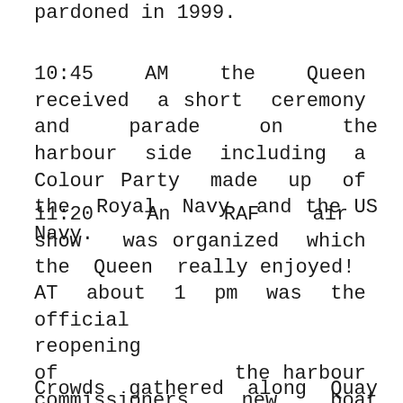pardoned in 1999.
10:45 AM the Queen received a short ceremony and parade on the harbour side including a Colour Party made up of the Royal Navy and the US Navy.
11:20 An RAF air show was organized which the Queen really enjoyed!
AT about 1 pm was the official reopening of the harbour commissioners new boat building facility which was opened by captain Jeff Miller, Us Naval attache to the UK.
Crowds gathered along Quay street to catch a glimpse of the Queen and her husband the Duke of Edinburgh